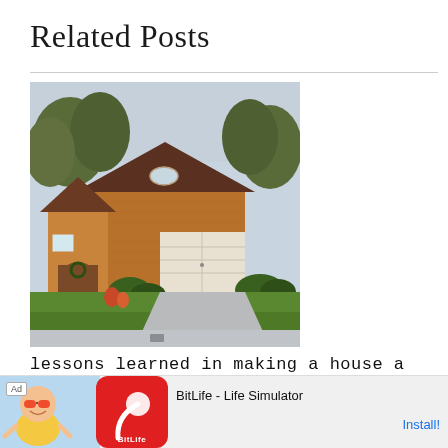Related Posts
[Figure (photo): Exterior photo of a single-story brick house with a two-car garage, green lawn, trees, and a concrete driveway on a cloudy day.]
lessons learned in making a house a home
[Figure (photo): Partially visible image below the post title, cropped at the bottom of the page.]
[Figure (other): Advertisement banner: Ad label, BitLife app icon with sperm logo on red background, text 'BitLife - Life Simulator', and 'Install!' link in blue.]